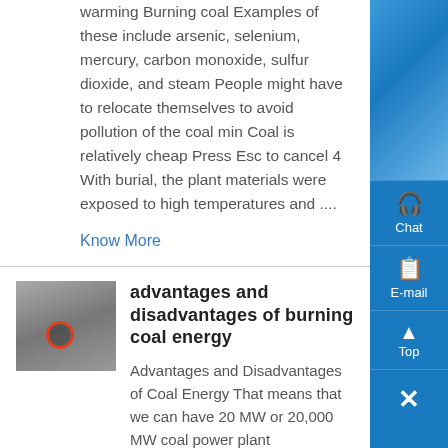warming Burning coal Examples of these include arsenic, selenium, mercury, carbon monoxide, sulfur dioxide, and steam People might have to relocate themselves to avoid pollution of the coal min Coal is relatively cheap Press Esc to cancel 4 With burial, the plant materials were exposed to high temperatures and ....
Know More
[Figure (photo): Thumbnail photo of industrial machinery or equipment, showing cylindrical metal parts with a circular red-outlined highlight marker.]
advantages and disadvantages of burning coal energy
Advantages and Disadvantages of Coal Energy That means that we can have 20 MW or 20,000 MW coal power plant